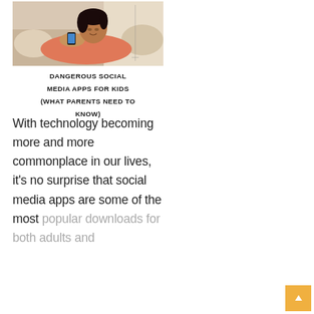[Figure (photo): Young girl lying on a couch using a smartphone, wearing a coral/pink top]
DANGEROUS SOCIAL MEDIA APPS FOR KIDS (WHAT PARENTS NEED TO KNOW)
With technology becoming more and more commonplace in our lives, it’s no surprise that social media apps are some of the most popular downloads for both adults and